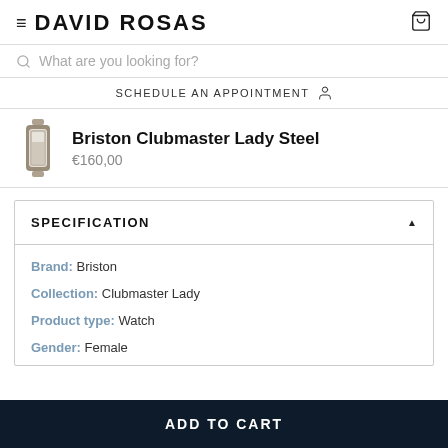DAVID ROSAS
What are you looking for?
SCHEDULE AN APPOINTMENT
Briston Clubmaster Lady Steel
€160,00
SPECIFICATION
Brand: Briston
Collection: Clubmaster Lady
Product type: Watch
Gender: Female
ADD TO CART